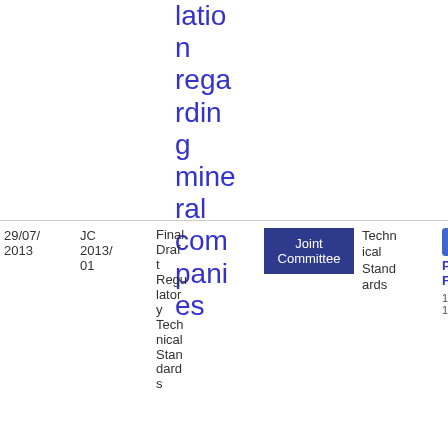lation regarding mineral companies
| Date | Ref | Title | Committee | Type | File |
| --- | --- | --- | --- | --- | --- |
| 29/07/2013 | JC 2013/01 | Final Draft Regulatory Technical Standards | Joint Committee | Technical Standards | PDF 1.17 MB |